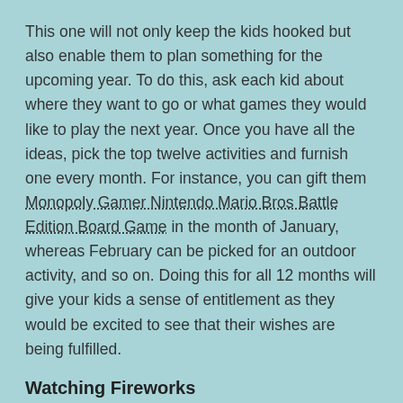This one will not only keep the kids hooked but also enable them to plan something for the upcoming year. To do this, ask each kid about where they want to go or what games they would like to play the next year. Once you have all the ideas, pick the top twelve activities and furnish one every month. For instance, you can gift them Monopoly Gamer Nintendo Mario Bros Battle Edition Board Game in the month of January, whereas February can be picked for an outdoor activity, and so on. Doing this for all 12 months will give your kids a sense of entitlement as they would be excited to see that their wishes are being fulfilled.
Watching Fireworks